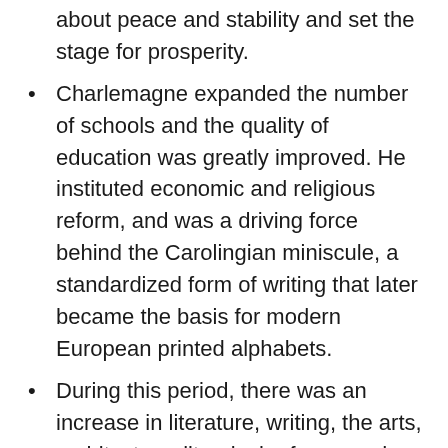about peace and stability and set the stage for prosperity.
Charlemagne expanded the number of schools and the quality of education was greatly improved. He instituted economic and religious reform, and was a driving force behind the Carolingian miniscule, a standardized form of writing that later became the basis for modern European printed alphabets.
During this period, there was an increase in literature, writing, the arts, architecture, liturgical reforms and scriptural studies.